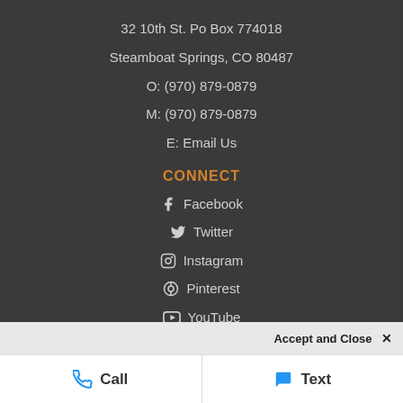32 10th St. Po Box 774018
Steamboat Springs, CO 80487
O: (970) 879-0879
M: (970) 879-0879
E: Email Us
CONNECT
Facebook
Twitter
Instagram
Pinterest
YouTube
NAVIGATION
Search
Accept and Close ✕
Call
Text